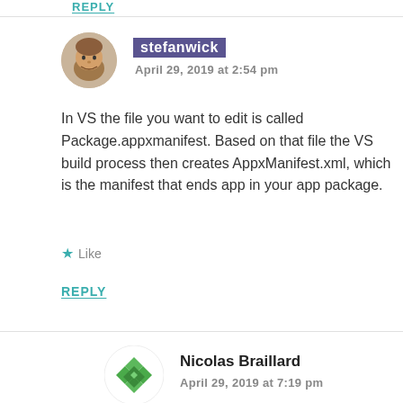REPLY
stefanwick
April 29, 2019 at 2:54 pm
In VS the file you want to edit is called Package.appxmanifest. Based on that file the VS build process then creates AppxManifest.xml, which is the manifest that ends app in your app package.
Like
REPLY
Nicolas Braillard
April 29, 2019 at 7:19 pm